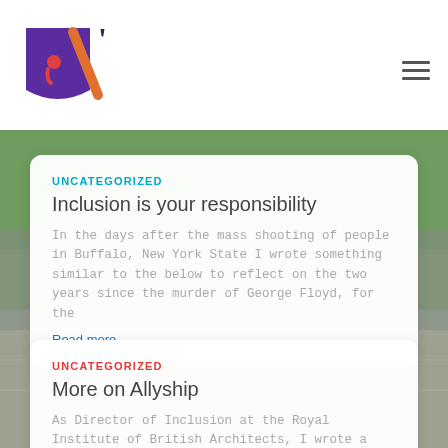[Figure (logo): Logo with purple shield shape containing a red comma, orange slash, and dark text apostrophe]
UNCATEGORIZED
Inclusion is your responsibility
In the days after the mass shooting of people in Buffalo, New York State I wrote something similar to the below to reflect on the two years since the murder of George Floyd, for the
Read more...
UNCATEGORIZED
More on Allyship
As Director of Inclusion at the Royal Institute of British Architects, I wrote a version of this blog for